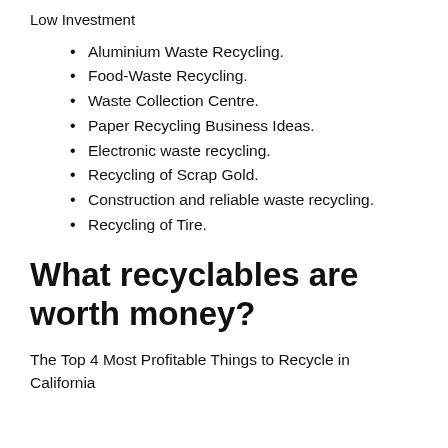Low Investment
Aluminium Waste Recycling.
Food-Waste Recycling.
Waste Collection Centre.
Paper Recycling Business Ideas.
Electronic waste recycling.
Recycling of Scrap Gold.
Construction and reliable waste recycling.
Recycling of Tire.
What recyclables are worth money?
The Top 4 Most Profitable Things to Recycle in California